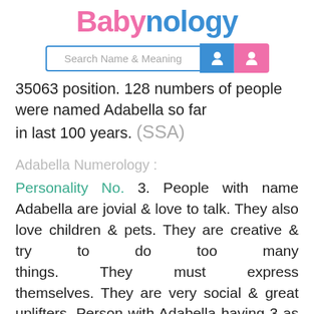Babynology
[Figure (screenshot): Search Name & Meaning search bar with male and female icons]
35063 position. 128 numbers of people were named Adabella so far in last 100 years. (SSA)
Adabella Numerology :
Personality No. 3. People with name Adabella are jovial & love to talk. They also love children & pets. They are creative & try to do too many things. They must express themselves. They are very social & great uplifters. Person with Adabella having 3 as Personality number are ambitious & philosophical. They are versatile & have an optimistic attitude. They are zealous &